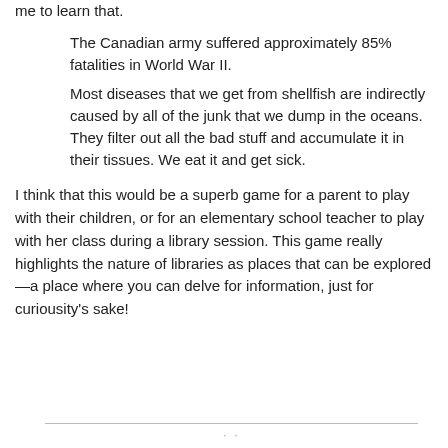me to learn that.
The Canadian army suffered approximately 85% fatalities in World War II.
Most diseases that we get from shellfish are indirectly caused by all of the junk that we dump in the oceans. They filter out all the bad stuff and accumulate it in their tissues. We eat it and get sick.
I think that this would be a superb game for a parent to play with their children, or for an elementary school teacher to play with her class during a library session. This game really highlights the nature of libraries as places that can be explored—a place where you can delve for information, just for curiousity's sake!
· ·